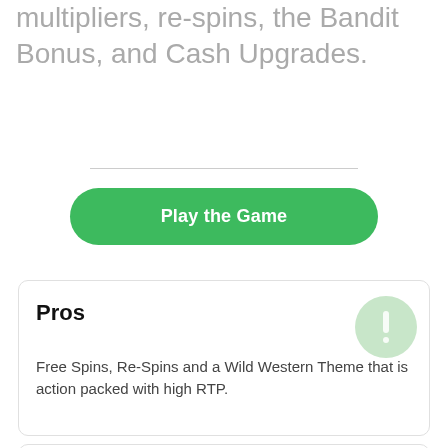multipliers, re-spins, the Bandit Bonus, and Cash Upgrades.
[Figure (other): Green rounded button labeled 'Play the Game']
Pros
Free Spins, Re-Spins and a Wild Western Theme that is action packed with high RTP.
Cons